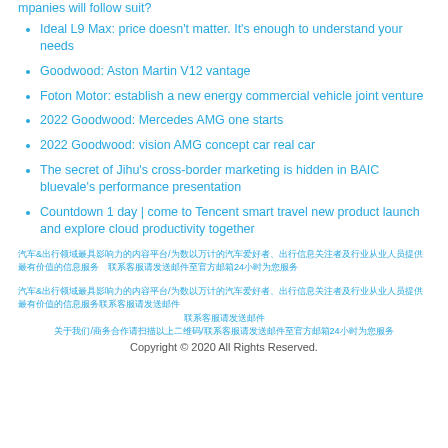mpanies will follow suit?
Ideal L9 Max: price doesn't matter. It's enough to understand your needs
Goodwood: Aston Martin V12 vantage
Foton Motor: establish a new energy commercial vehicle joint venture
2022 Goodwood: Mercedes AMG one starts
2022 Goodwood: vision AMG concept car real car
The secret of Jihu's cross-border marketing is hidden in BAIC bluevale's performance presentation
Countdown 1 day | come to Tencent smart travel new product launch and explore cloud productivity together
汽车&出行领域最具影响力的内容平台/为数以万计的汽车爱好者、出行信息关注者及行业从业人员提供最有价值的信息服务
联系客服请发送邮件
关于我们/商务合作请扫描以上二维码/联系客服请发送邮件至官方邮箱24小时为您服务
Copyright © 2020 All Rights Reserved.